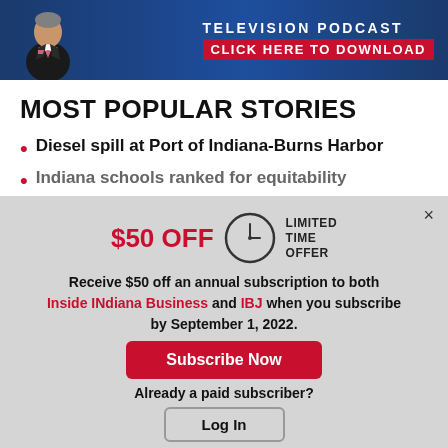[Figure (infographic): Television podcast advertisement banner with a man in a suit on the left and text 'TELEVISION PODCAST CLICK HERE TO DOWNLOAD' on a dark blue background]
MOST POPULAR STORIES
Diesel spill at Port of Indiana-Burns Harbor
Indiana schools ranked for equitability
[Figure (infographic): Modal popup offering $50 OFF limited time offer for annual subscription to Inside INdiana Business and IBJ by September 1, 2022, with Subscribe Now and Log In buttons]